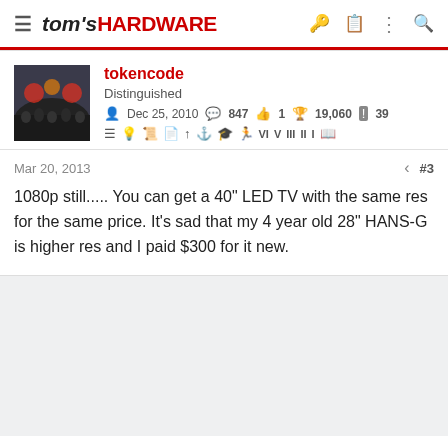tom's HARDWARE
tokencode
Distinguished
Dec 25, 2010  847  1  19,060  39
Mar 20, 2013  #3
1080p still..... You can get a 40" LED TV with the same res for the same price. It's sad that my 4 year old 28" HANS-G is higher res and I paid $300 for it new.